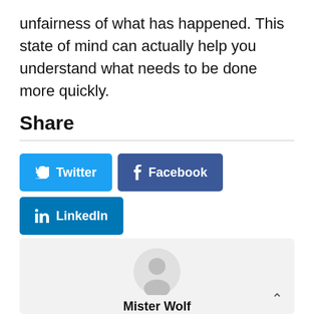unfairness of what has happened. This state of mind can actually help you understand what needs to be done more quickly.
Share
[Figure (screenshot): Social share buttons: Twitter (blue), Facebook (dark blue), LinkedIn (dark blue), Email (gray)]
[Figure (illustration): Author card with gray placeholder avatar icon and partial text 'Mister Wolf']